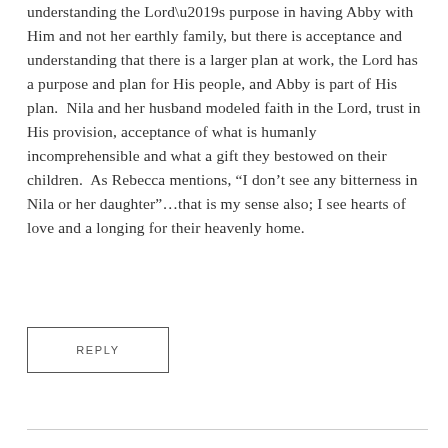understanding the Lord’s purpose in having Abby with Him and not her earthly family, but there is acceptance and understanding that there is a larger plan at work, the Lord has a purpose and plan for His people, and Abby is part of His plan.  Nila and her husband modeled faith in the Lord, trust in His provision, acceptance of what is humanly incomprehensible and what a gift they bestowed on their children.  As Rebecca mentions, “I don’t see any bitterness in Nila or her daughter”…that is my sense also; I see hearts of love and a longing for their heavenly home.
REPLY